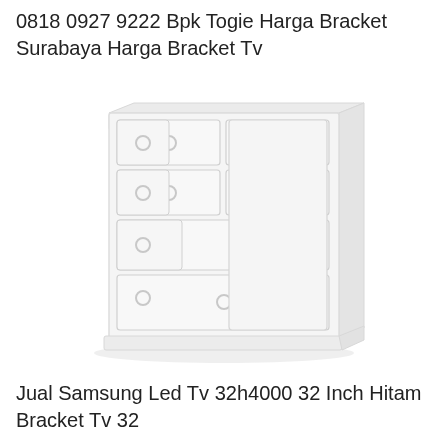0818 0927 9222 Bpk Togie Harga Bracket Surabaya Harga Bracket Tv
[Figure (illustration): A white chest of drawers (dresser) with multiple drawers with circular ring handles, shown in a light/faded style against a white background.]
Jual Samsung Led Tv 32h4000 32 Inch Hitam Bracket Tv 32